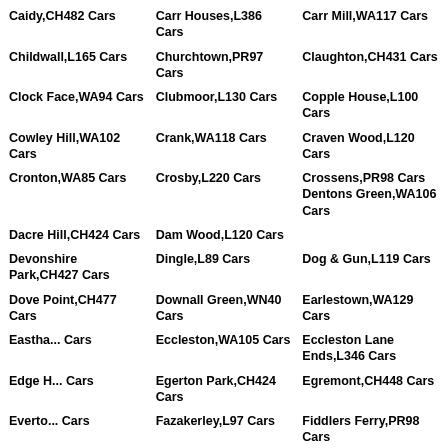Caidy,CH482 Cars
Carr Houses,L386 Cars
Carr Mill,WA117 Cars
Childwall,L165 Cars
Churchtown,PR97 Cars
Claughton,CH431 Cars
Clock Face,WA94 Cars
Clubmoor,L130 Cars
Copple House,L100 Cars
Cowley Hill,WA102 Cars
Crank,WA118 Cars
Craven Wood,L120 Cars
Cronton,WA85 Cars
Crosby,L220 Cars
Crossens,PR98 Cars
Dacre Hill,CH424 Cars
Dam Wood,L120 Cars
Dentons Green,WA106 Cars
Devonshire Park,CH427 Cars
Dingle,L89 Cars
Dog & Gun,L119 Cars
Dove Point,CH477 Cars
Downall Green,WN40 Cars
Earlestown,WA129 Cars
Eastha... Cars
Eccleston,WA105 Cars
Eccleston Lane Ends,L346 Cars
Edge H... Cars
Egerton Park,CH424 Cars
Egremont,CH448 Cars
Everto... Cars
Fazakerley,L97 Cars
Fiddlers Ferry,PR98 Cars
Finger... Cars
Ford,L210 Cars
Formby,L374 Cars
F...L371 Cars
Fulwood Park,L175 Cars
Garston,L198 Cars